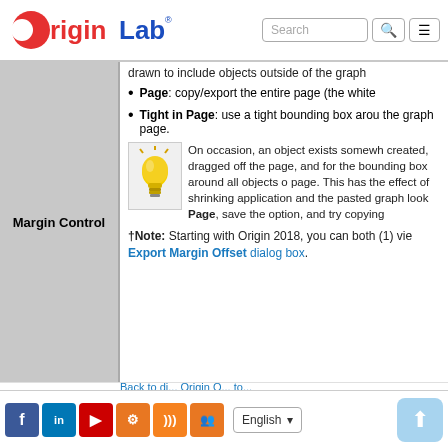OriginLab [logo] Search [search icon] [menu icon]
drawn to include objects outside of the graph
Page: copy/export the entire page (the white
Tight in Page: use a tight bounding box around the graph page.
[Figure (illustration): Yellow lightbulb tip/note icon]
On occasion, an object exists somewhere created, dragged off the page, and for the bounding box around all objects on page. This has the effect of shrinking t application and the pasted graph looks Page, save the option, and try copying
†Note: Starting with Origin 2018, you can both (1) vie Export Margin Offset dialog box.
Facebook LinkedIn YouTube Settings RSS Groups | English ▾ | ↑